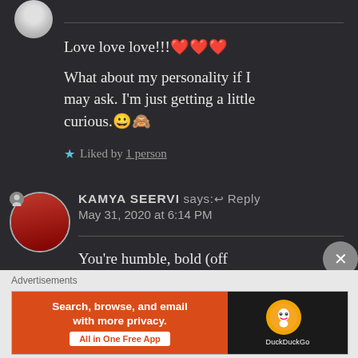Love love love!!!❤❤❤
What about my personality if I may ask. I'm just getting a little curious.😀🙈
★ Liked by 1 person
KAMYA SEERVI says:↩ Reply
May 31, 2020 at 6:14 PM
You're humble, bold (off
Advertisements
[Figure (screenshot): DuckDuckGo advertisement banner: 'Search, browse, and email with more privacy. All in One Free App' with DuckDuckGo logo on dark background.]